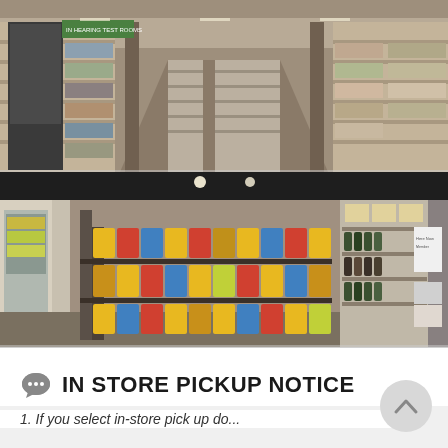[Figure (photo): Aerial/overhead view of a grocery or convenience store interior showing long aisles with shelving units filled with products, warehouse-style layout with concrete floors and overhead lighting.]
[Figure (photo): Eye-level interior view of a convenience or specialty store showing shelves stocked with colorful snack bags/chips in the foreground, wine/spirits bottles on shelves to the right, and a refrigerated section visible on the left side.]
IN STORE PICKUP NOTICE
1. If you select in-store pick up do...